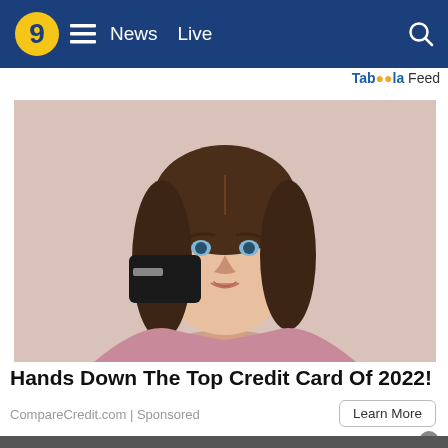9  ≡  News  Live  🔍
Taboola Feed
[Figure (photo): Young brunette woman holding a black credit card, wearing a pink off-shoulder sweater, against a light pink background]
Hands Down The Top Credit Card Of 2022!
CompareCredit.com | Sponsored
Learn More